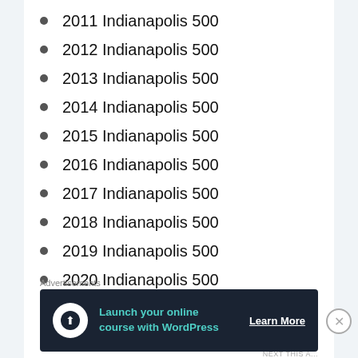2011 Indianapolis 500
2012 Indianapolis 500
2013 Indianapolis 500
2014 Indianapolis 500
2015 Indianapolis 500
2016 Indianapolis 500
2017 Indianapolis 500
2018 Indianapolis 500
2019 Indianapolis 500
2020 Indianapolis 500
2021 Indianapolis 500
Advertisements
[Figure (other): Advertisement banner: Launch your online course with WordPress. Learn More button.]